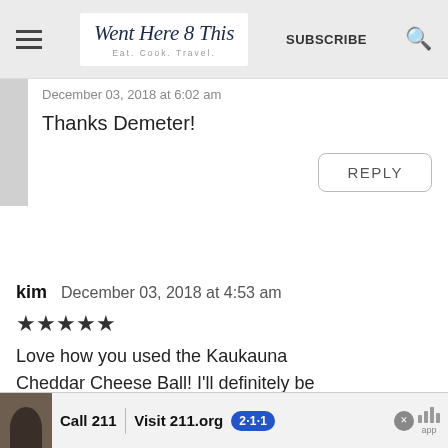[Figure (screenshot): Website header bar for 'Went Here 8 This' blog with hamburger menu, logo, SUBSCRIBE text, and search icon]
December 03, 2018 at 6:02 am
Thanks Demeter!
REPLY
kim   December 03, 2018 at 4:53 am
★★★★★
Love how you used the Kaukauna Cheddar Cheese Ball! I'll definitely be
[Figure (screenshot): Advertisement banner: person photo, 'Call 211 | Visit 211.org' with 2-1-1 badge and app text]